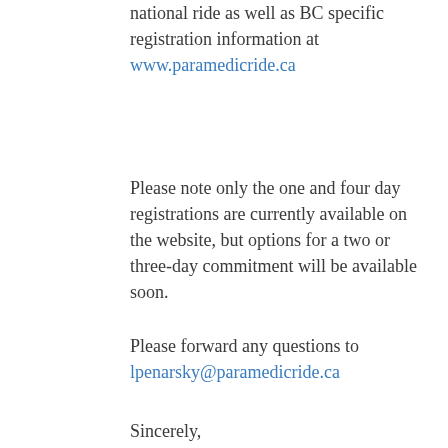national ride as well as BC specific registration information at www.paramedicride.ca
Please note only the one and four day registrations are currently available on the website, but options for a two or three-day commitment will be available soon.
Please forward any questions to lpenarsky@paramedicride.ca
Sincerely,
Ambulance Paramedics and Emergency Dispatchers of BC